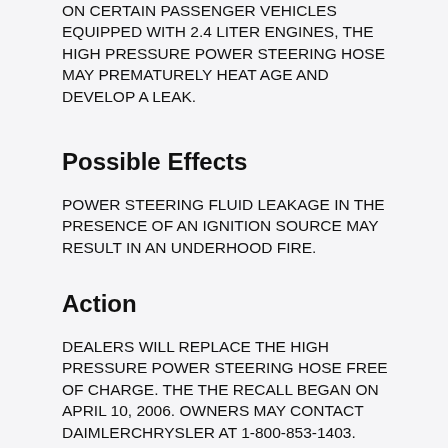ON CERTAIN PASSENGER VEHICLES EQUIPPED WITH 2.4 LITER ENGINES, THE HIGH PRESSURE POWER STEERING HOSE MAY PREMATURELY HEAT AGE AND DEVELOP A LEAK.
Possible Effects
POWER STEERING FLUID LEAKAGE IN THE PRESENCE OF AN IGNITION SOURCE MAY RESULT IN AN UNDERHOOD FIRE.
Action
DEALERS WILL REPLACE THE HIGH PRESSURE POWER STEERING HOSE FREE OF CHARGE. THE THE RECALL BEGAN ON APRIL 10, 2006. OWNERS MAY CONTACT DAIMLERCHRYSLER AT 1-800-853-1403.